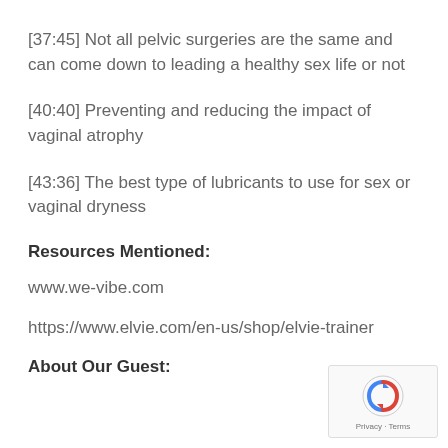[37:45] Not all pelvic surgeries are the same and can come down to leading a healthy sex life or not
[40:40] Preventing and reducing the impact of vaginal atrophy
[43:36] The best type of lubricants to use for sex or vaginal dryness
Resources Mentioned:
www.we-vibe.com
https://www.elvie.com/en-us/shop/elvie-trainer
About Our Guest: